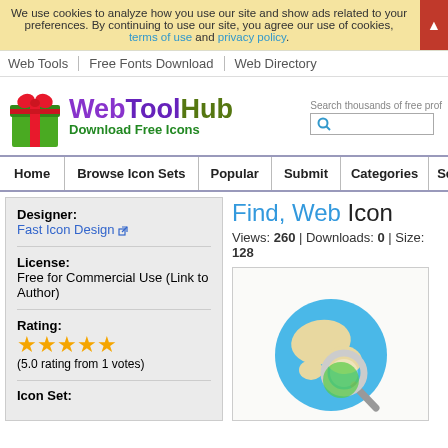We use cookies to analyze how you use our site and show ads related to your preferences. By continuing to use our site, you agree our use of cookies, terms of use and privacy policy.
Web Tools | Free Fonts Download | Web Directory
[Figure (logo): WebToolHub logo with gift box icon and text 'WebToolHub Download Free Icons']
Home | Browse Icon Sets | Popular | Submit | Categories | Serv...
Designer: Fast Icon Design
Find, Web Icon
Views: 260 | Downloads: 0 | Size: 128
License: Free for Commercial Use (Link to Author)
Rating: ★★★★★ (5.0 rating from 1 votes)
Icon Set:
[Figure (illustration): Find/Web icon showing a globe with a magnifying glass]